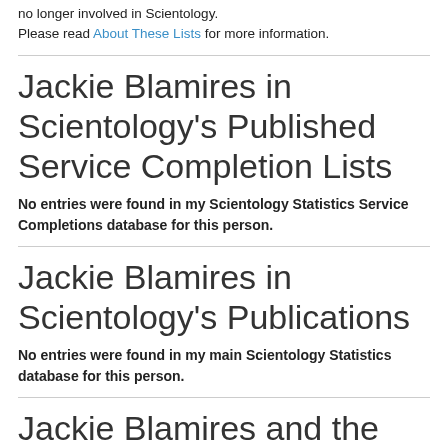no longer involved in Scientology.
Please read About These Lists for more information.
Jackie Blamires in Scientology's Published Service Completion Lists
No entries were found in my Scientology Statistics Service Completions database for this person.
Jackie Blamires in Scientology's Publications
No entries were found in my main Scientology Statistics database for this person.
Jackie Blamires and the Clear